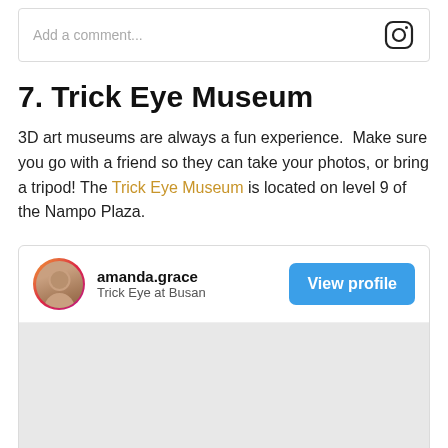[Figure (screenshot): Comment input box with Instagram icon on the right, showing placeholder text 'Add a comment...']
7. Trick Eye Museum
3D art museums are always a fun experience.  Make sure you go with a friend so they can take your photos, or bring a tripod! The Trick Eye Museum is located on level 9 of the Nampo Plaza.
[Figure (screenshot): Instagram profile card for amanda.grace showing 'Trick Eye at Busan' with a View profile button]